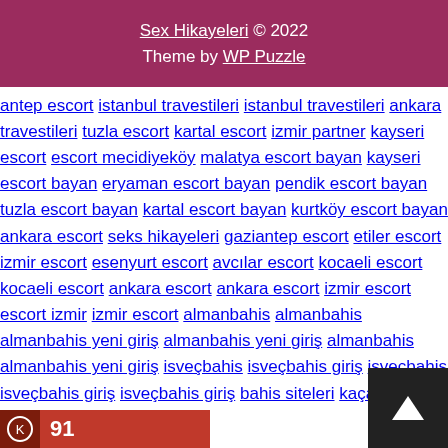Sex Hikayeleri © 2022 Theme by WP Puzzle
antep escort istanbul travestileri istanbul travestileri ankara travestileri tuzla escort kartal escort izmir partner kayseri escort escort mecidiyeköy malatya escort bayan kayseri escort bayan eryaman escort bayan pendik escort bayan tuzla escort bayan kartal escort bayan kurtköy escort bayan ankara escort seks hikayeleri gaziantep escort etiler escort izmir escort esenyurt escort avcılar escort kocaeli escort kocaeli escort ankara escort ankara escort izmir escort escort izmir izmir escort almanbahis almanbahis almanbahis yeni giriş almanbahis yeni giriş almanbahis almanbahis yeni giriş isveçbahis isveçbahis giriş isveçbahis isveçbahis giriş isveçbahis giriş bahis siteleri kaçak bahis bahis siteleri canlı bahis güvenilir bahis canlı bahis bursa escort bursa escort bursa escort